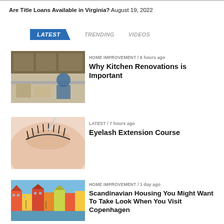Are Title Loans Available in Virginia? August 19, 2022
LATEST   TRENDING   VIDEOS
[Figure (photo): Kitchen renovation scene with worker and cabinetry]
HOME IMPROVEMENT / 6 hours ago
Why Kitchen Renovations is Important
[Figure (photo): Close-up of woman receiving eyelash extension treatment]
LATEST / 7 hours ago
Eyelash Extension Course
[Figure (photo): Colorful Scandinavian waterfront buildings in Copenhagen]
HOME IMPROVEMENT / 1 day ago
Scandinavian Housing You Might Want To Take Look When You Visit Copenhagen